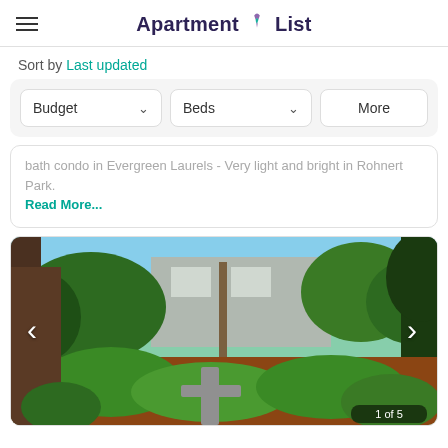Apartment List
Sort by Last updated
Budget  Beds  More
bath condo in Evergreen Laurels - Very light and bright in Rohnert Park. Read More...
[Figure (photo): Exterior photo of an apartment complex with lush green landscaping, hedges, trees, and mulched garden beds. Navigation arrows on left and right sides. Counter showing '1 of 5' at bottom right.]